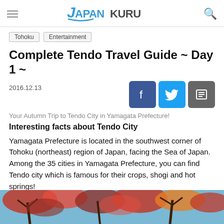JAPANKURU
Tohoku
Entertainment
Complete Tendo Travel Guide ~ Day 1 ~
2016.12.13
Your Autumn Trip to Tendo City in Yamagata Prefecture!
Interesting facts about Tendo City
Yamagata Prefecture is located in the southwest corner of Tohoku (northeast) region of Japan, facing the Sea of Japan. Among the 35 cities in Yamagata Prefecture, you can find Tendo city which is famous for their crops, shogi and hot springs!
[Figure (photo): Autumn foliage photo showing tree branches with red and orange leaves against a blue sky]